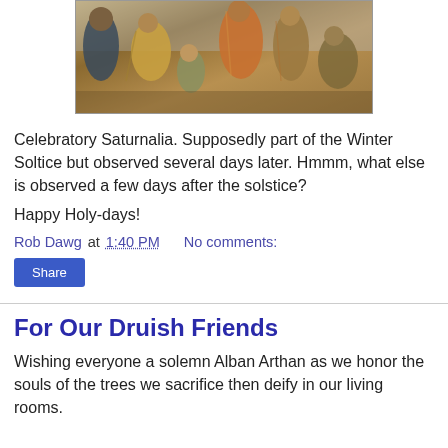[Figure (photo): Classical painting showing a group of figures in ancient Roman dress, appearing to celebrate, with warm earth tones of brown, orange, and gold.]
Celebratory Saturnalia. Supposedly part of the Winter Soltice but observed several days later. Hmmm, what else is observed a few days after the solstice?
Happy Holy-days!
Rob Dawg at 1:40 PM    No comments:
Share
For Our Druish Friends
Wishing everyone a solemn Alban Arthan as we honor the souls of the trees we sacrifice then deify in our living rooms.